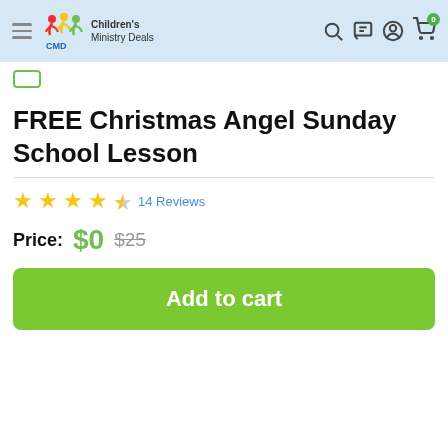Children's Ministry Deals
FREE Christmas Angel Sunday School Lesson
★★★★½ 14 Reviews
Price: $0  $25
Add to cart